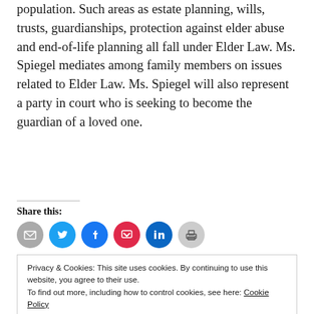population. Such areas as estate planning, wills, trusts, guardianships, protection against elder abuse and end-of-life planning all fall under Elder Law. Ms. Spiegel mediates among family members on issues related to Elder Law. Ms. Spiegel will also represent a party in court who is seeking to become the guardian of a loved one.
Share this:
[Figure (infographic): Row of social sharing icon buttons: email (grey), Twitter (blue), Facebook (blue), Pocket (red), LinkedIn (dark blue), Print (grey)]
Privacy & Cookies: This site uses cookies. By continuing to use this website, you agree to their use. To find out more, including how to control cookies, see here: Cookie Policy
Close and accept